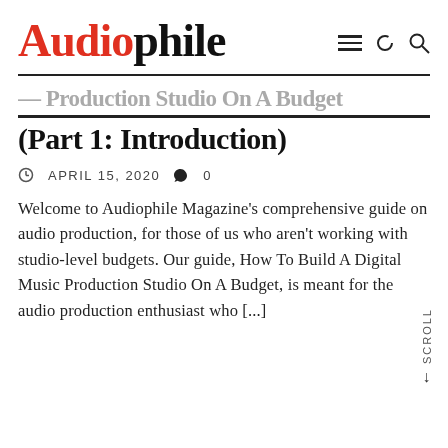Audiophile
(Part 1: Introduction)
APRIL 15, 2020  0
Welcome to Audiophile Magazine's comprehensive guide on audio production, for those of us who aren't working with studio-level budgets. Our guide, How To Build A Digital Music Production Studio On A Budget, is meant for the audio production enthusiast who [...]
[Figure (photo): Close-up photograph of a condenser microphone head, dark gray/black, shown from below at an angle on a white background. A vertical 'SCROLL →' label appears on the right edge.]